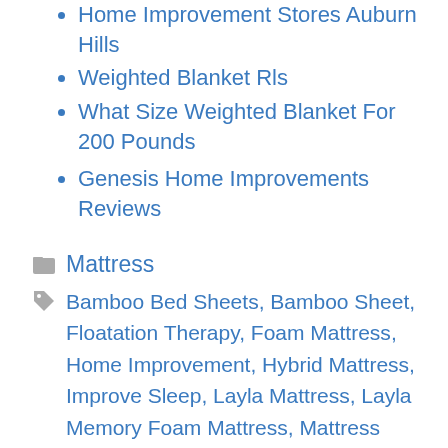Home Improvement Stores Auburn Hills
Weighted Blanket Rls
What Size Weighted Blanket For 200 Pounds
Genesis Home Improvements Reviews
Mattress
Bamboo Bed Sheets, Bamboo Sheet, Floatation Therapy, Foam Mattress, Home Improvement, Hybrid Mattress, Improve Sleep, Layla Mattress, Layla Memory Foam Mattress, Mattress Protector, Mattress Topper, Memory Foam Bed, Memory Foam Mattress, Sleepy Time, Spine Health, Weighted Blanket
Lowe's Home Improvement Flooring